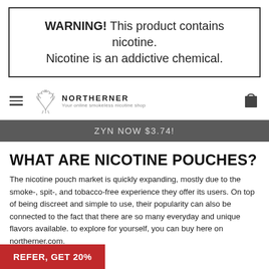WARNING! This product contains nicotine. Nicotine is an addictive chemical.
[Figure (logo): Northerner logo with antler graphic and tagline 'Your online smokeless nicotine shop']
ZYN NOW $3.74!
WHAT ARE NICOTINE POUCHES?
The nicotine pouch market is quickly expanding, mostly due to the smoke-, spit-, and tobacco-free experience they offer its users. On top of being discreet and simple to use, their popularity can also be connected to the fact that there are so many everyday and unique flavors available. to explore for yourself, you can buy here on northerner.com.
REFER, GET 20%